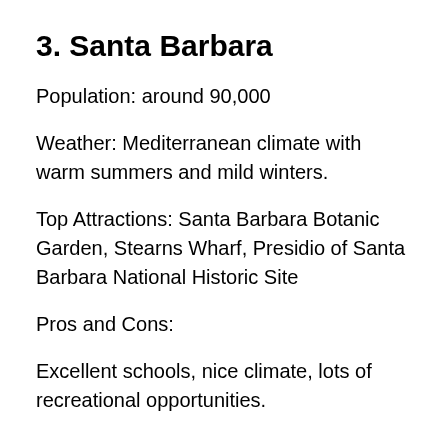3. Santa Barbara
Population: around 90,000
Weather: Mediterranean climate with warm summers and mild winters.
Top Attractions: Santa Barbara Botanic Garden, Stearns Wharf, Presidio of Santa Barbara National Historic Site
Pros and Cons:
Excellent schools, nice climate, lots of recreational opportunities.